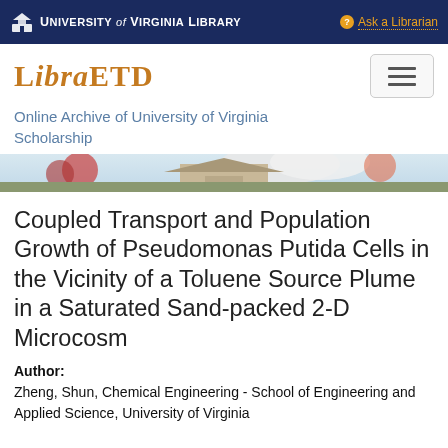University of Virginia Library — Ask a Librarian
LibraETD
Online Archive of University of Virginia Scholarship
[Figure (photo): Banner photo of a building on the University of Virginia campus with autumn foliage]
Coupled Transport and Population Growth of Pseudomonas Putida Cells in the Vicinity of a Toluene Source Plume in a Saturated Sand-packed 2-D Microcosm
Author: Zheng, Shun, Chemical Engineering - School of Engineering and Applied Science, University of Virginia